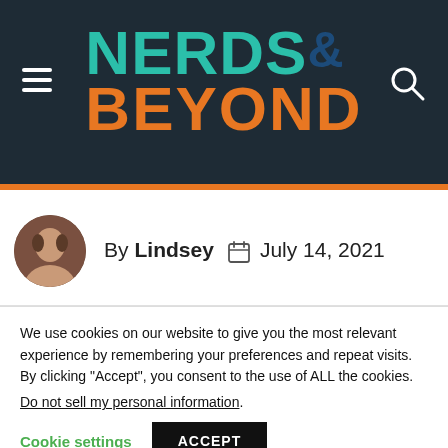NERDS& BEYOND
By Lindsey   July 14, 2021
[Figure (infographic): Social share buttons: Facebook (blue), Twitter (cyan), Email (black), Print (dark gray)]
We use cookies on our website to give you the most relevant experience by remembering your preferences and repeat visits. By clicking “Accept”, you consent to the use of ALL the cookies.
Do not sell my personal information.
Cookie settings   ACCEPT